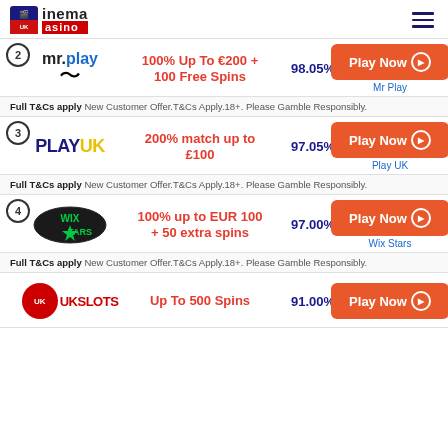Cinema Casino
2. Mr Play - 100% Up To €200 + 100 Free Spins - 98.05% - Play Now
Full T&Cs apply New Customer Offer.T&Cs Apply.18+. Please Gamble Responsibly.
3. PlayUK - 200% match up to £100 - 97.05% - Play Now
Full T&Cs apply New Customer Offer.T&Cs Apply.18+. Please Gamble Responsibly.
4. Wix Stars - 100% up to EUR 100 + 50 extra spins - 97.00% - Play Now
Full T&Cs apply New Customer Offer.T&Cs Apply.18+. Please Gamble Responsibly.
UK Slots - Up To 500 Spins - 91.00% - Play Now